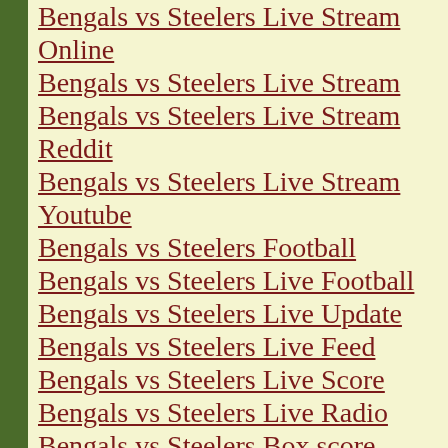Bengals vs Steelers Live Stream Online
Bengals vs Steelers Live Stream
Bengals vs Steelers Live Stream Reddit
Bengals vs Steelers Live Stream Youtube
Bengals vs Steelers Football
Bengals vs Steelers Live Football
Bengals vs Steelers Live Update
Bengals vs Steelers Live Feed
Bengals vs Steelers Live Score
Bengals vs Steelers Live Radio
Bengals vs Steelers Box score
Bengals vs Steelers Game Live
Watch Bengals vs Steelers Live